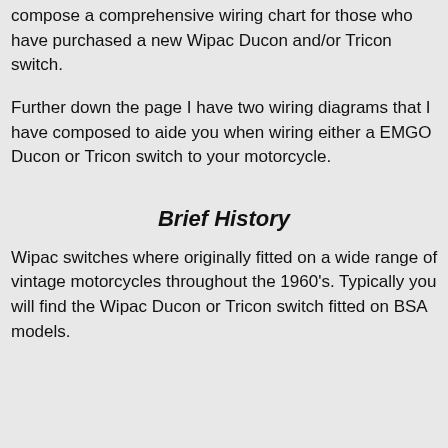compose a comprehensive wiring chart for those who have purchased a new Wipac Ducon and/or Tricon switch.
Further down the page I have two wiring diagrams that I have composed to aide you when wiring either a EMGO Ducon or Tricon switch to your motorcycle.
Brief History
Wipac switches where originally fitted on a wide range of vintage motorcycles throughout the 1960's. Typically you will find the Wipac Ducon or Tricon switch fitted on BSA models.